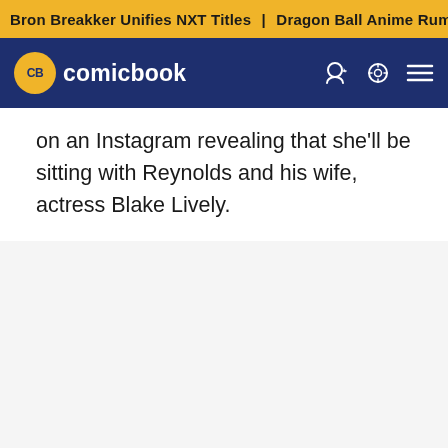Bron Breakker Unifies NXT Titles | Dragon Ball Anime Rumor
[Figure (logo): ComicBook.com logo with yellow CB circle and white text on dark blue navigation bar]
on an Instagram revealing that she'll be sitting with Reynolds and his wife, actress Blake Lively.